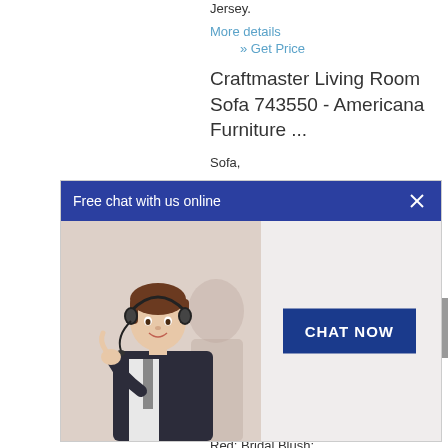Jersey.
More details
» Get Price
Craftmaster Living Room Sofa 743550 - Americana Furniture ...
Sofa, Room
[Figure (screenshot): Live chat popup widget with header 'Free chat with us online', a close (X) button, an agent photo (woman with headset), and a 'CHAT NOW' button]
Furniture in Waterford and New London, CT. ... Americana Furniture Private Sale .... Whisper; Breen; Brick; Brick Cream; Brick Dust; Brick Red; Bridal Blush;